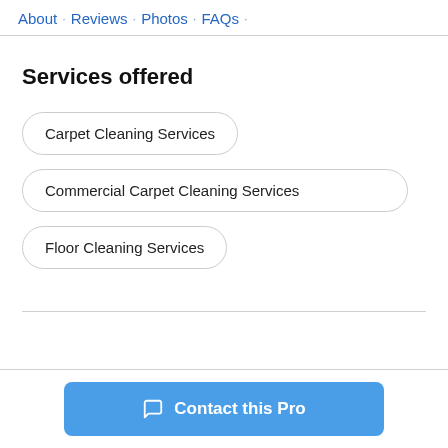About · Reviews · Photos · FAQs ·
Services offered
Carpet Cleaning Services
Commercial Carpet Cleaning Services
Floor Cleaning Services
Contact this Pro